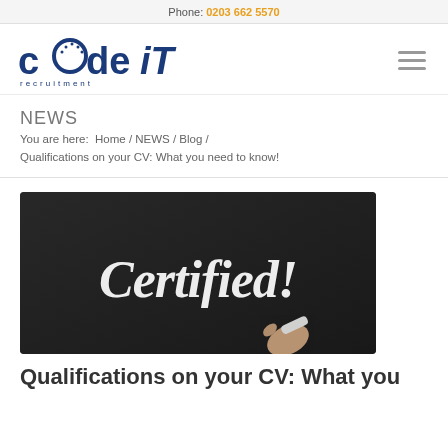Phone: 0203 662 5570
[Figure (logo): Code iT Recruitment logo — blue bold text with circular 'o' and italic 'iT', tagline 'recruitment' in spaced letters below]
NEWS
You are here:  Home / NEWS / Blog / Qualifications on your CV: What you need to know!
[Figure (photo): Black chalkboard with 'Certified!' written in white chalk-style text, with a hand holding chalk in the lower right corner]
Qualifications on your CV: What you